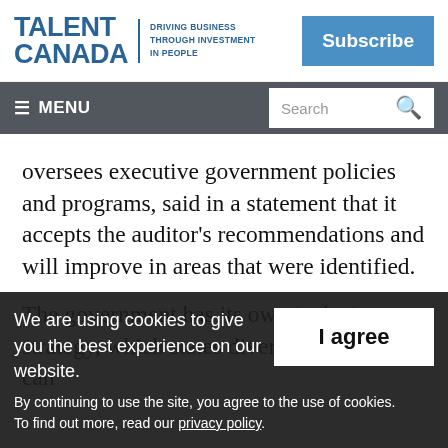TALENT CANADA — DRIVING BUSINESS THROUGH INVESTMENT IN PEOPLE | Subscribe
≡ MENU | Search
oversees executive government policies and programs, said in a statement that it accepts the auditor's recommendations and will improve in areas that were identified.
The government has its own inclusion strategy, which states diverse workplaces can
We are using cookies to give you the best experience on our website. By continuing to use the site, you agree to the use of cookies. To find out more, read our privacy policy.